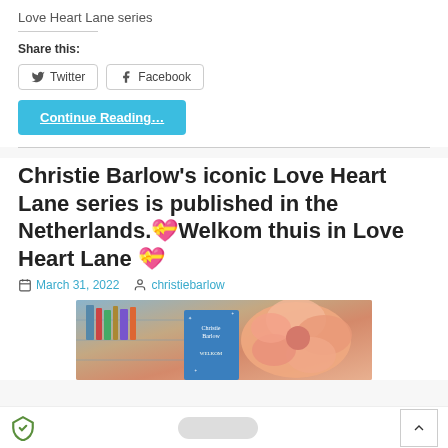Love Heart Lane series
Share this:
Twitter
Facebook
Continue Reading...
Christie Barlow's iconic Love Heart Lane series is published in the Netherlands.💝Welkom thuis in Love Heart Lane 💝
March 31, 2022  christiebarlow
[Figure (photo): Photo showing a book by Christie Barlow with 'WELKOM' visible on the cover, surrounded by a pink dahlia flower and bookshelf in background]